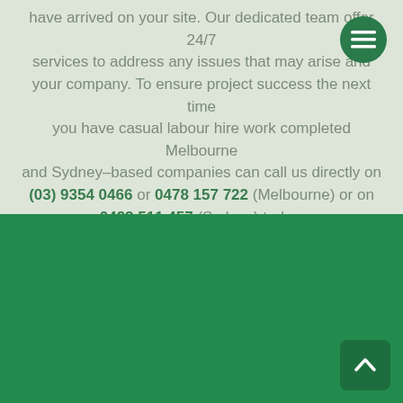have arrived on your site. Our dedicated team offer 24/7 services to address any issues that may arise and your company. To ensure project success the next time you have casual labour hire work completed Melbourne and Sydney–based companies can call us directly on (03) 9354 0466 or 0478 157 722 (Melbourne) or on 0423 511 457 (Sydney) today.
[Figure (other): Dark green section footer background]